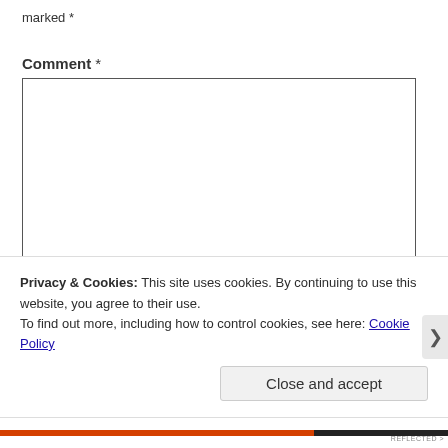marked *
Comment *
[Figure (screenshot): Empty comment text area input box with a resize handle in the bottom right corner]
[Figure (screenshot): Partially visible text input field (name input row)]
Privacy & Cookies: This site uses cookies. By continuing to use this website, you agree to their use.
To find out more, including how to control cookies, see here: Cookie Policy
Close and accept